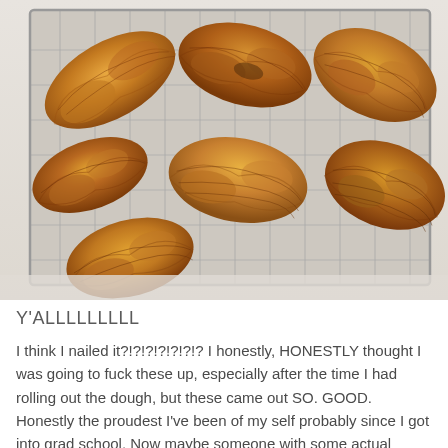[Figure (photo): Overhead photo of freshly baked croissants arranged on a metal wire cooling rack, placed on a white cloth surface. The croissants are golden-brown and flaky.]
Y'ALLLLLLLLL
I think I nailed it?!?!?!?!?!?!? I honestly, HONESTLY thought I was going to fuck these up, especially after the time I had rolling out the dough, but these came out SO. GOOD. Honestly the proudest I've been of my self probably since I got into grad school. Now maybe someone with some actual croissant knowledge would